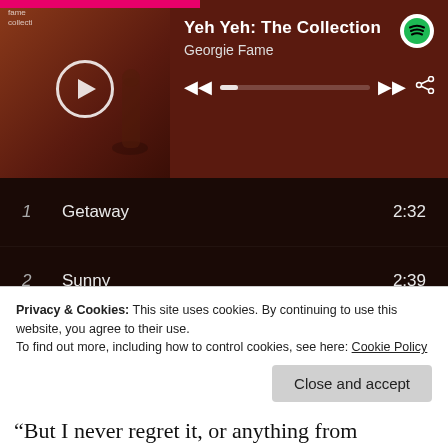[Figure (screenshot): Spotify music player showing album 'Yeh Yeh: The Collection' by Georgie Fame with playback controls and progress bar]
| # | Track | Duration |
| --- | --- | --- |
| 1 | Getaway | 2:32 |
| 2 | Sunny | 2:39 |
| 3 | Yeh, Yeh | 2:44 |
| 4 | Night Train - Live | 4:28 |
| 5 | Green Onions | 2:11 |
| 6 | In The Meantime | 2:34 |
| 7 | Papa's Got A Brand New Bag | 3:48 |
| 8 | Preach & Teach | 2:00 |
Privacy & Cookies: This site uses cookies. By continuing to use this website, you agree to their use. To find out more, including how to control cookies, see here: Cookie Policy
“But I never regret it, or anything from